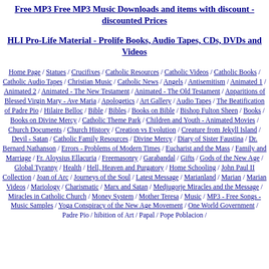Free MP3 Free MP3 Music Downloads and items with discount - discounted Prices
HLI Pro-Life Material - Prolife Books, Audio Tapes, CDs, DVDs and Videos
Home Page / Statues / Crucifixes / Catholic Resources / Catholic Videos / Catholic Books / Catholic Audio Tapes / Christian Music / Catholic News / Angels / Antisemitism / Animated 1 / Animated 2 / Animated - The New Testament / Animated - The Old Testament / Apparitions of Blessed Virgin Mary - Ave Maria / Apologetics / Art Gallery / Audio Tapes / The Beatification of Padre Pio / Hilaire Belloc / Bible / Bibles / Books on Bible / Bishop Fulton Sheen / Books / Books on Divine Mercy / Catholic Theme Park / Children and Youth - Animated Movies / Church Documents / Church History / Creation vs Evolution / Creature from Jekyll Island / Devil - Satan / Catholic Family Resources / Divine Mercy / Diary of Sister Faustina / Dr. Bernard Nathanson / Errors - Problems of Modern Times / Eucharist and the Mass / Family and Marriage / Fr. Aloysius Ellacuria / Freemasonry / Garabandal / Gifts / Gods of the New Age / Global Tyranny / Health / Hell, Heaven and Purgatory / Home Schooling / John Paul II Collection / Joan of Arc / Journeys of the Soul / Latest Message / Marianland / Marian / Marian Videos / Mariology / Charismatic / Marx and Satan / Medjugorje Miracles and the Message / Miracles in Catholic Church / Money System / Mother Teresa / Music / MP3 - Free Songs - Music Samples / Yoga Conspiracy of the New Age Movement / One World Government / Padre Pio /hibition of Prayer / Papal / Pope Poblacion /